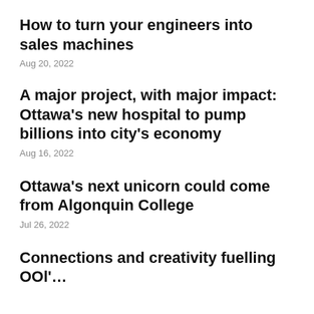How to turn your engineers into sales machines
Aug 20, 2022
A major project, with major impact: Ottawa's new hospital to pump billions into city's economy
Aug 16, 2022
Ottawa's next unicorn could come from Algonquin College
Jul 26, 2022
Connections and creativity fuelling OOl'…